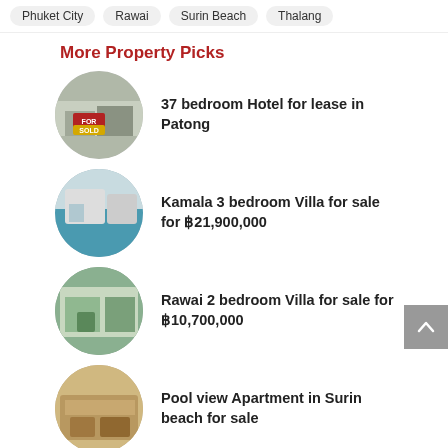Phuket City
Rawai
Surin Beach
Thalang
More Property Picks
37 bedroom Hotel for lease in Patong
Kamala 3 bedroom Villa for sale for ฿21,900,000
Rawai 2 bedroom Villa for sale for ฿10,700,000
Pool view Apartment in Surin beach for sale
Sea view Apartment project for sale
Laguna 1 bedroom Apartment for sale for ฿1,950,000